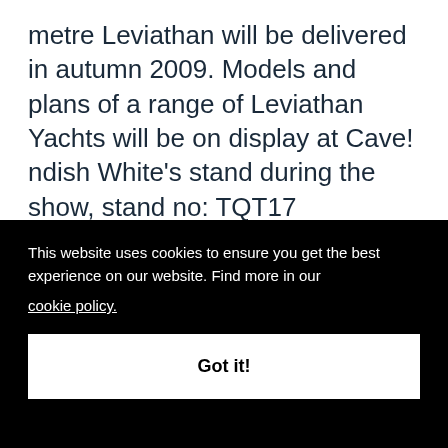metre Leviathan will be delivered in autumn 2009. Models and plans of a range of Leviathan Yachts will be on display at Cavendish White's stand during the show, stand no: TQT17
The advantages of building super yachts in China are numerous: the workforce is one of the most skilled and economic in the world: [partially obscured by cookie banner] slots; [partially obscured] y [partially obscured] he [partially obscured] ntly [partially obscured] oject
This website uses cookies to ensure you get the best experience on our website. Find more in our cookie policy.
Got it!